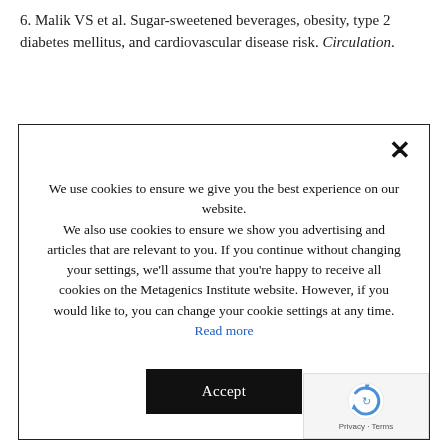6. Malik VS et al. Sugar-sweetened beverages, obesity, type 2 diabetes mellitus, and cardiovascular disease risk. Circulation.
We use cookies to ensure we give you the best experience on our website. We also use cookies to ensure we show you advertising and articles that are relevant to you. If you continue without changing your settings, we'll assume that you're happy to receive all cookies on the Metagenics Institute website. However, if you would like to, you can change your cookie settings at any time. Read more